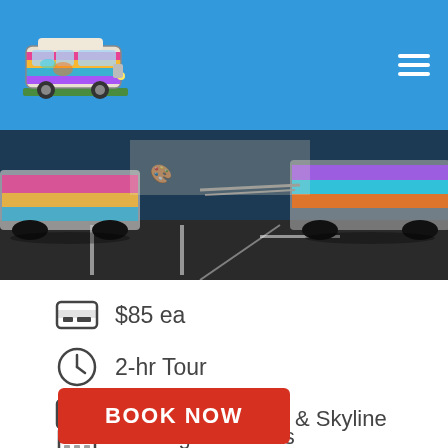[Figure (screenshot): Website screenshot showing a tour booking page with a colorful VW bus logo, hamburger menu, photo banner of a parking lot with colorful buses, and tour details listing: $85 ea, 2-hr Tour, 2 Photo Stops, BOOK NOW button, & Skyline, 15 Neighborhoods]
$85 ea
2-hr Tour
2 Photo Stops
& Skyline
15 Neighborhoods